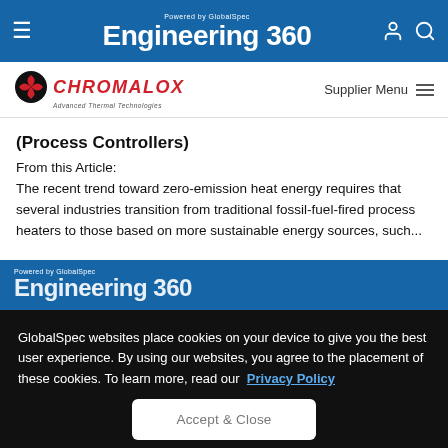Powered by GlobalSpec Engineering 360
[Figure (logo): Chromalox - Advanced Thermal Technologies logo with Supplier Menu]
(Process Controllers)
From this Article:
The recent trend toward zero-emission heat energy requires that several industries transition from traditional fossil-fuel-fired process heaters to those based on more sustainable energy sources, such...
Powered by GlobalSpec Engineering 360
GlobalSpec websites place cookies on your device to give you the best user experience. By using our websites, you agree to the placement of these cookies. To learn more, read our Privacy Policy